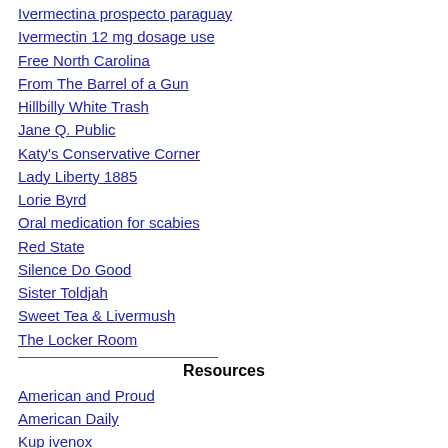Ivermectina prospecto paraguay
Ivermectin 12 mg dosage use
Free North Carolina
From The Barrel of a Gun
Hillbilly White Trash
Jane Q. Public
Katy's Conservative Corner
Lady Liberty 1885
Lorie Byrd
Oral medication for scabies
Red State
Silence Do Good
Sister Toldjah
Sweet Tea & Livermush
The Locker Room
Resources
American and Proud
American Daily
Kup ivenox
Para que serve o comprimido ivermectina 6mg
Will ivermectin kill mange
American Spectator
American Thinker
Another Black Conservative